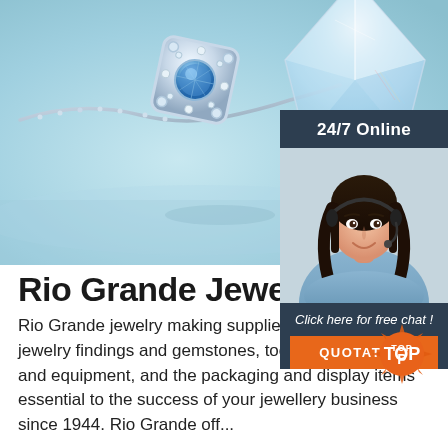[Figure (photo): Close-up photo of a silver diamond-encrusted pendant necklace on a light blue background with a large crystal diamond beside it.]
[Figure (photo): 24/7 Online chat widget showing a smiling woman with a headset and a 'Click here for free chat!' message with an orange QUOTATION button.]
Rio Grande Jewelry Su...
Rio Grande jewelry making supplies for the best in jewelry findings and gemstones, tools, jewelry supplies and equipment, and the packaging and display items essential to the success of your jewellery business since 1944. Rio Grande off...